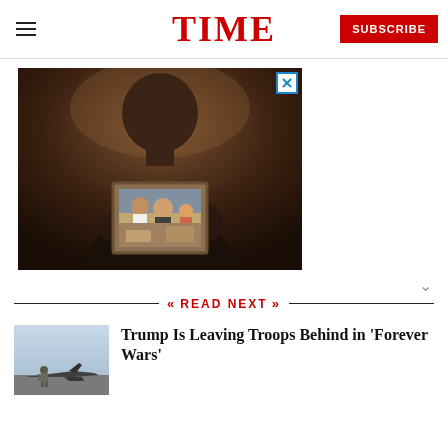TIME — SUBSCRIBE
[Figure (photo): Advertisement photo: a person holding up a framed family photograph, dimly lit in warm tones. An X close button appears in the upper right corner of the ad.]
READ NEXT
[Figure (photo): Thumbnail image of a soldier standing on a tarmac near a military aircraft.]
Trump Is Leaving Troops Behind in 'Forever Wars'